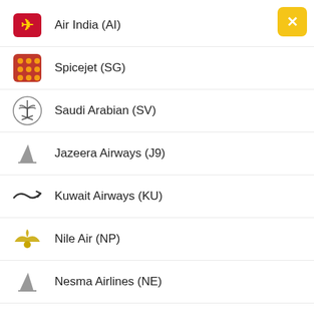[Figure (screenshot): Close button - yellow/gold rounded square with white X]
Air India (AI)
Spicejet (SG)
Saudi Arabian (SV)
Jazeera Airways (J9)
Kuwait Airways (KU)
Nile Air (NP)
Nesma Airlines (NE)
FlexFlight (W2)
Go Air (G8)
Egyptair (MS)